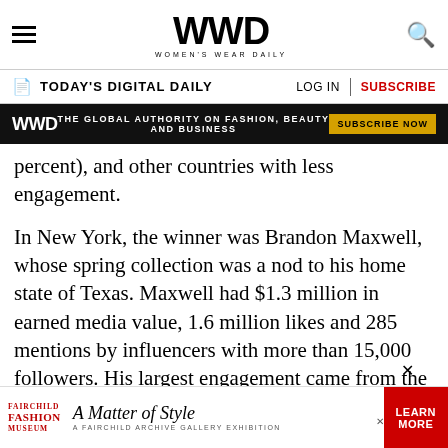WWD WOMEN'S WEAR DAILY
TODAY'S DIGITAL DAILY | LOG IN | SUBSCRIBE
WWD THE GLOBAL AUTHORITY ON FASHION, BEAUTY AND BUSINESS SUBSCRIBE NOW
percent), and other countries with less engagement.
In New York, the winner was Brandon Maxwell, whose spring collection was a nod to his home state of Texas. Maxwell had $1.3 million in earned media value, 1.6 million likes and 285 mentions by influencers with more than 15,000 followers. His largest engagement came from the U.S. (47.2 percent), followed by Italy (7.8 percent), Brazil (7.
[Figure (other): Fairchild Fashion Museum - A Matter of Style - A Fairchild Archive Gallery Exhibition advertisement with Learn More button]